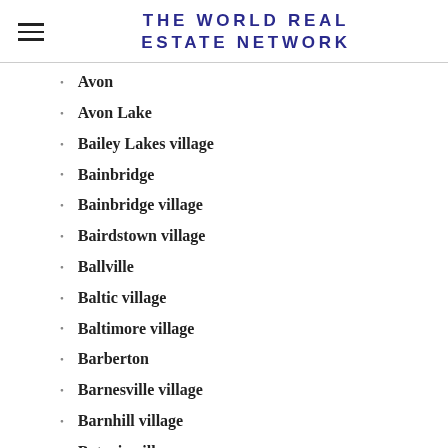THE WORLD REAL ESTATE NETWORK
Avon
Avon Lake
Bailey Lakes village
Bainbridge
Bainbridge village
Bairdstown village
Ballville
Baltic village
Baltimore village
Barberton
Barnesville village
Barnhill village
Batavia village
Batesville village
Bay View village